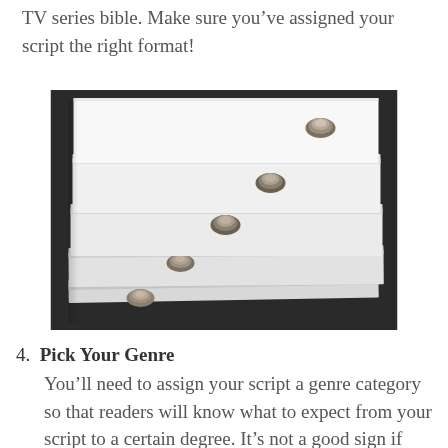TV series bible. Make sure you've assigned your script the right format!
[Figure (photo): A stack of multiple bound script manuscripts or documents piled on top of each other, each held together with brass paper fasteners/brads, photographed from a low angle against a dark background.]
4. Pick Your Genre
You'll need to assign your script a genre category so that readers will know what to expect from your script to a certain degree. It's not a good sign if you're struggling to